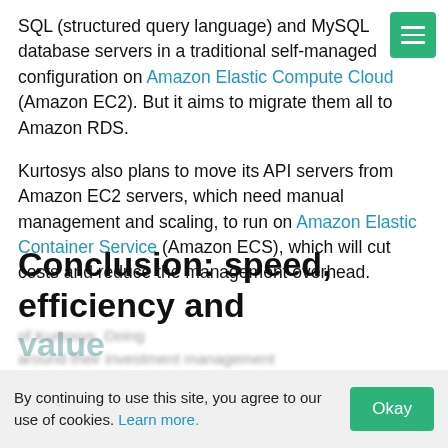SQL (structured query language) and MySQL database servers in a traditional self-managed configuration on Amazon Elastic Compute Cloud (Amazon EC2).  But it aims to migrate them all to Amazon RDS.
[Figure (other): Green hamburger menu button (three horizontal white lines on green background) in the top-right corner]
Kurtosys also plans to move its API servers from Amazon EC2 servers,  which need manual management and scaling,  to run on Amazon Elastic Container Service (Amazon ECS),  which will cut costs and reduce the management overhead.
Conclusion: speed, efficiency and value
By continuing to use this site, you agree to our use of cookies. Learn more.